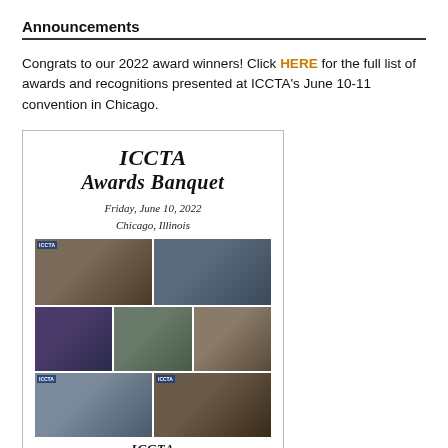Announcements
Congrats to our 2022 award winners! Click HERE for the full list of awards and recognitions presented at ICCTA's June 10-11 convention in Chicago.
[Figure (photo): ICCTA Awards Banquet flyer with title text 'ICCTA Awards Banquet, Friday, June 10, 2022, Chicago, Illinois' and a collage of 7 event photos showing award recipients.]